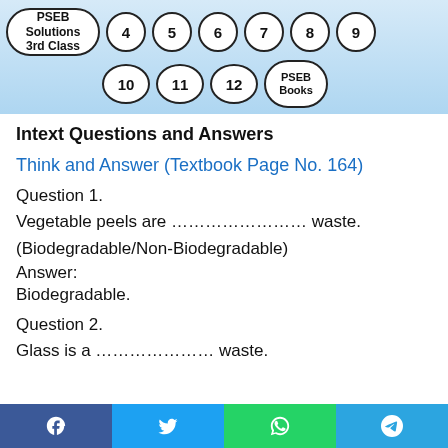PSEB Solutions 3rd Class | 4 | 5 | 6 | 7 | 8 | 9 | 10 | 11 | 12 | PSEB Books
Intext Questions and Answers
Think and Answer (Textbook Page No. 164)
Question 1.
Vegetable peels are ………………… waste.
(Biodegradable/Non-Biodegradable)
Answer:
Biodegradable.
Question 2.
Glass is a ………………… waste.